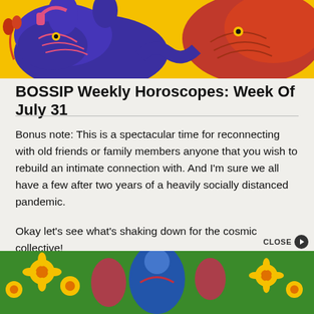[Figure (illustration): Colorful illustrated image with animals on a yellow/orange background — features a blue/purple stylized animal and red/coral elements, decorative pop-art style]
BOSSIP Weekly Horoscopes: Week Of July 31
Bonus note: This is a spectacular time for reconnecting with old friends or family members anyone that you wish to rebuild an intimate connection with. And I'm sure we all have a few after two years of a heavily socially distanced pandemic.
Okay let's see what's shaking down for the cosmic collective!
[Figure (illustration): Colorful illustrated image with green background and figures — partial view at bottom of page with floral/decorative motifs]